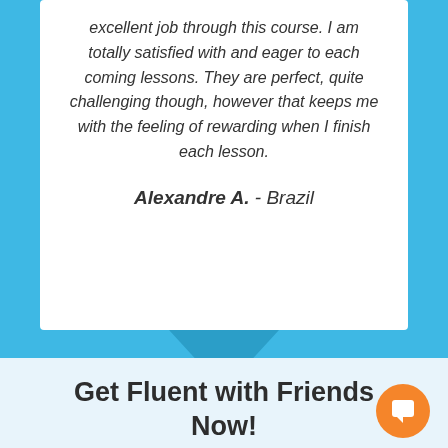excellent job through this course. I am totally satisfied with and eager to each coming lessons. They are perfect, quite challenging though, however that keeps me with the feeling of rewarding when I finish each lesson.
Alexandre A. - Brazil
Get Fluent with Friends Now!
1x PAYMENT